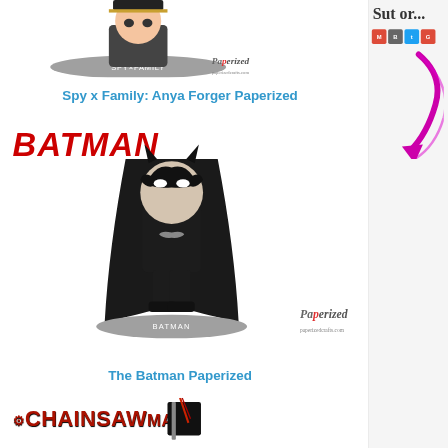[Figure (photo): Spy x Family Anya Forger Paperized chibi figure on a grey base with Paperized Crafts watermark and logo]
Spy x Family: Anya Forger Paperized
[Figure (photo): The Batman Paperized chibi figure in black batman costume on a grey base, with Batman logo text in red, and Paperized Crafts watermark and logo]
The Batman Paperized
[Figure (photo): Chainsaw Man Paperized figure partially visible at bottom, with Chainsaw Man logo text in red]
[Figure (screenshot): Sidebar with partial text 'Sut or...' and social media share buttons (email, blogger, twitter, google+) and a partial decorative graphic with purple/magenta curved shape]